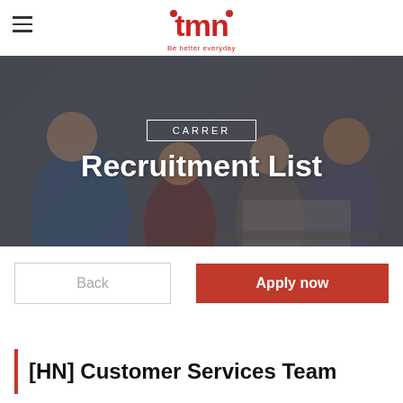[Figure (logo): tmn logo with red stylized letters and tagline 'Be better everyday']
[Figure (photo): Group of diverse people celebrating around a laptop in an office setting, used as hero banner background]
CARRER
Recruitment List
Back
Apply now
[HN] Customer Services Team